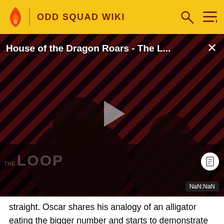ODD SQUAD WIKI
[Figure (screenshot): Video player showing 'House of the Dragon Roars - The L...' with paused state, diagonal red and black stripe background, two silhouetted figures, play button in center, THE LOOP watermark, and NaN:NaN timestamp label]
straight. Oscar shares his analogy of an alligator eating the bigger number and starts to demonstrate when Ms. orders him never to do that again. Oscar readily agrees. Ms. O flops onto her couch and declares that she needs a juice box. Oscar gets an idea and calls Olaf into the office.